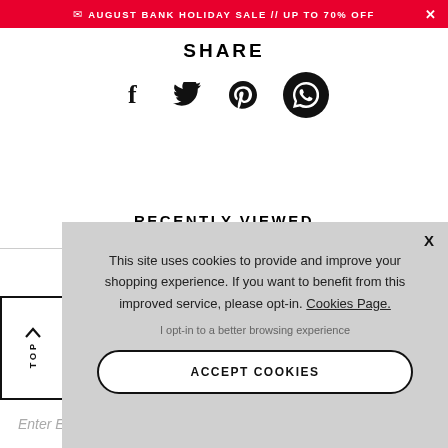AUGUST BANK HOLIDAY SALE // UP TO 70% OFF
SHARE
[Figure (infographic): Social share icons: Facebook, Twitter, Pinterest, WhatsApp (in a black circle)]
RECENTLY VIEWED
TOP
Enter Email...
This site uses cookies to provide and improve your shopping experience. If you want to benefit from this improved service, please opt-in. Cookies Page.
I opt-in to a better browsing experience
ACCEPT COOKIES